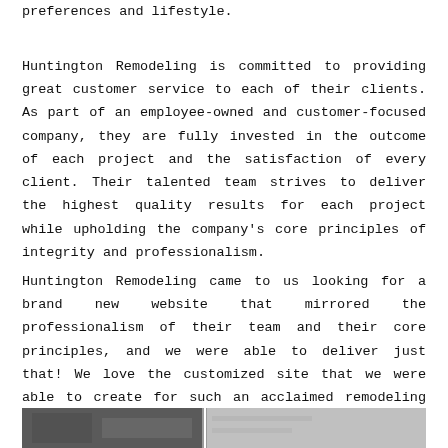preferences and lifestyle.
Huntington Remodeling is committed to providing great customer service to each of their clients. As part of an employee-owned and customer-focused company, they are fully invested in the outcome of each project and the satisfaction of every client. Their talented team strives to deliver the highest quality results for each project while upholding the company's core principles of integrity and professionalism.
Huntington Remodeling came to us looking for a brand new website that mirrored the professionalism of their team and their core principles, and we were able to deliver just that! We love the customized site that we were able to create for such an acclaimed remodeling company.
[Figure (photo): Black and white photograph showing a building exterior or interior architectural detail, partially visible at the bottom of the page.]